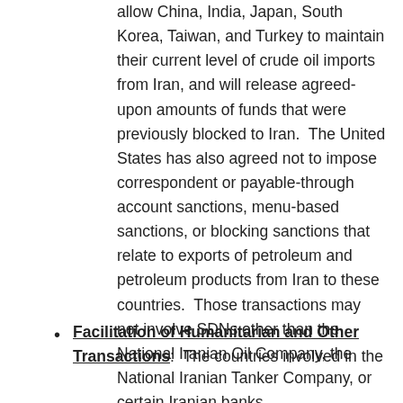allow China, India, Japan, South Korea, Taiwan, and Turkey to maintain their current level of crude oil imports from Iran, and will release agreed-upon amounts of funds that were previously blocked to Iran.  The United States has also agreed not to impose correspondent or payable-through account sanctions, menu-based sanctions, or blocking sanctions that relate to exports of petroleum and petroleum products from Iran to these countries.  Those transactions may not involve SDNs other than the National Iranian Oil Company, the National Iranian Tanker Company, or certain Iranian banks.
Facilitation of Humanitarian and Other Transactions:  The countries involved in the